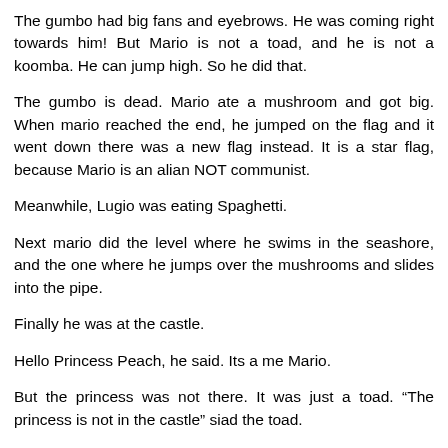The gumbo had big fans and eyebrows. He was coming right towards him! But Mario is not a toad, and he is not a koomba. He can jump high. So he did that.
The gumbo is dead. Mario ate a mushroom and got big. When mario reached the end, he jumped on the flag and it went down there was a new flag instead. It is a star flag, because Mario is an alian NOT communist.
Meanwhile, Lugio was eating Spaghetti.
Next mario did the level where he swims in the seashore, and the one where he jumps over the mushrooms and slides into the pipe.
Finally he was at the castle.
Hello Princess Peach, he said. Its a me Mario.
But the princess was not there. It was just a toad. “The princess is not in the castle” siad the toad.
Oh no.